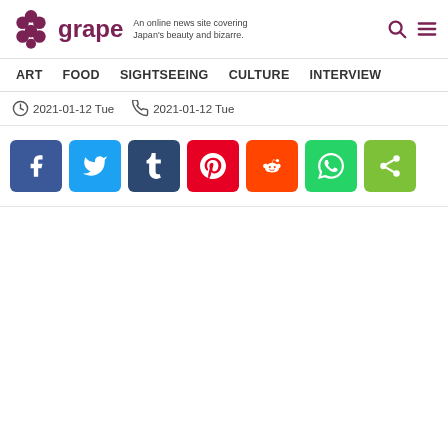grape — An online news site covering Japan's beauty and bizarre.
ART | FOOD | SIGHTSEEING | CULTURE | INTERVIEW
2021-01-12 Tue   2021-01-12 Tue
[Figure (other): Social share buttons: Facebook, Twitter, Tumblr, Pinterest, Reddit, WhatsApp, ShareThis]